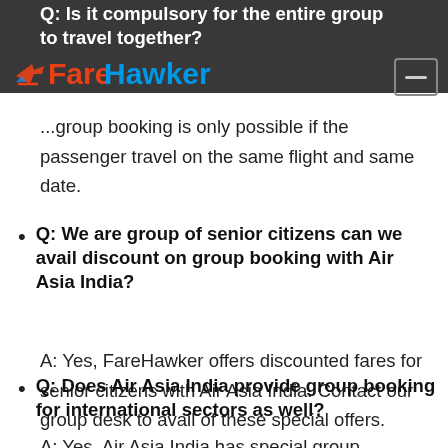FareHawker
Q: Is it compulsory for the entire group to travel together?
...group booking is only possible if the passenger travel on the same flight and same date.
Q: We are group of senior citizens can we avail discount on group booking with Air Asia India?
A: Yes, FareHawker offers discounted fares for senior citizens with Air Asia India. Contact our group desk to avail of these special offers.
Q: Does Air Asia India provide group booking for international sectors as well?
A: Yes, Air Asia India has special group